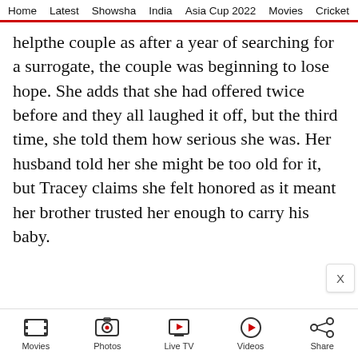Home | Latest | Showsha | India | Asia Cup 2022 | Movies | Cricket
helpthe couple as after a year of searching for a surrogate, the couple was beginning to lose hope. She adds that she had offered twice before and they all laughed it off, but the third time, she told them how serious she was. Her husband told her she might be too old for it, but Tracey claims she felt honored as it meant her brother trusted her enough to carry his baby.
Movies | Photos | Live TV | Videos | Share